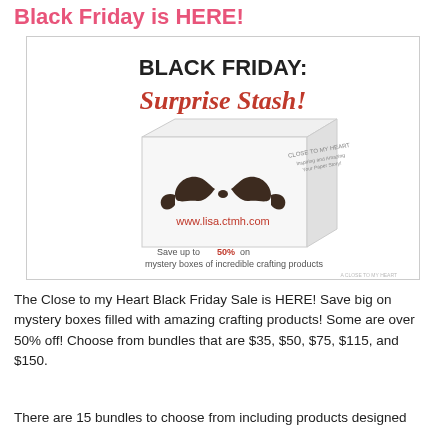Black Friday is HERE!
[Figure (photo): Black Friday Surprise Stash promotional image showing a white box with a mustache graphic and text: BLACK FRIDAY: Surprise Stash! www.lisa.ctmh.com Save up to 50% on mystery boxes of incredible crafting products]
The Close to my Heart Black Friday Sale is HERE! Save big on mystery boxes filled with amazing crafting products! Some are over 50% off! Choose from bundles that are $35, $50, $75, $115, and $150.
There are 15 bundles to choose from including products designed for scrapbooking, cards, or both! They really...